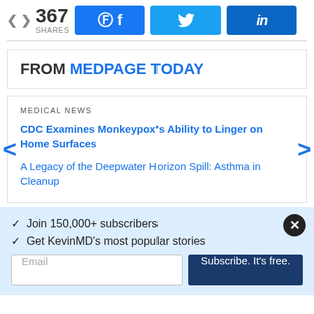367 SHARES  [Facebook share] [Twitter share] [LinkedIn share]
FROM MEDPAGE TODAY
MEDICAL NEWS
CDC Examines Monkeypox's Ability to Linger on Home Surfaces
A Legacy of the Deepwater Horizon Spill: Asthma in Cleanup
✓ Join 150,000+ subscribers
✓ Get KevinMD's most popular stories
Email  Subscribe. It's free.